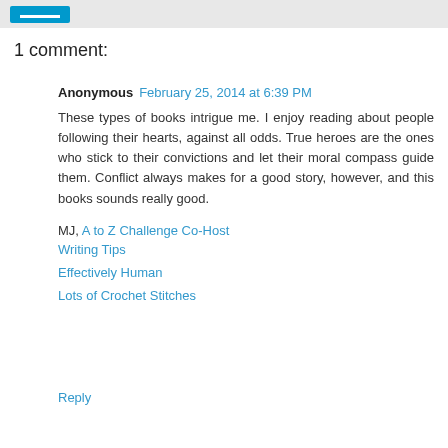[button]
1 comment:
Anonymous February 25, 2014 at 6:39 PM
These types of books intrigue me. I enjoy reading about people following their hearts, against all odds. True heroes are the ones who stick to their convictions and let their moral compass guide them. Conflict always makes for a good story, however, and this books sounds really good.
MJ, A to Z Challenge Co-Host
Writing Tips
Effectively Human
Lots of Crochet Stitches
Reply